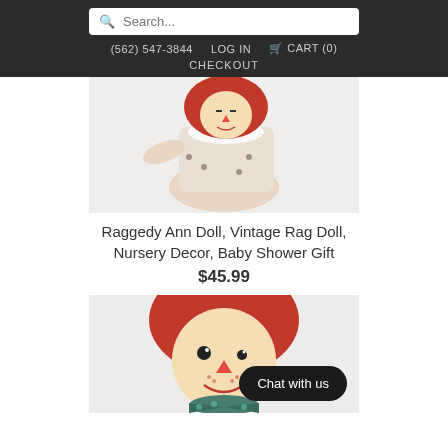Search... | (562) 547-3844 | LOG IN | CART (0) | CHECKOUT
[Figure (photo): A hand holding a Raggedy Ann doll with red yarn hair, wearing a white ruffled shirt and floral dress, photographed against a white background.]
Raggedy Ann Doll, Vintage Rag Doll, Nursery Decor, Baby Shower Gift
$45.99
[Figure (photo): Close-up of a Raggedy Ann doll face with red yarn hair, triangle nose, and a teal floral bow tie, against a light background. A 'Chat with us' button appears in the bottom right corner.]